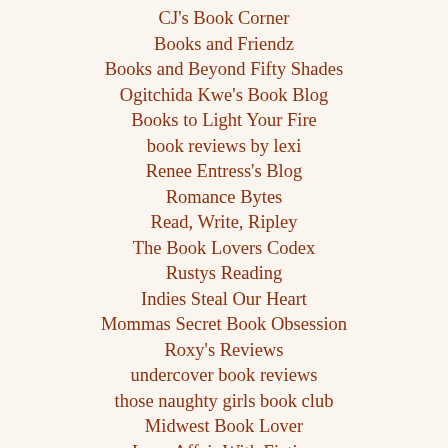CJ's Book Corner
Books and Friendz
Books and Beyond Fifty Shades
Ogitchida Kwe's Book Blog
Books to Light Your Fire
book reviews by lexi
Renee Entress's Blog
Romance Bytes
Read, Write, Ripley
The Book Lovers Codex
Rustys Reading
Indies Steal Our Heart
Mommas Secret Book Obsession
Roxy's Reviews
undercover book reviews
those naughty girls book club
Midwest Book Lover
Love Affair With Fiction
Shelf Life
My Favorite Things
Living In Our Own Story
The Phantom Paragrapher